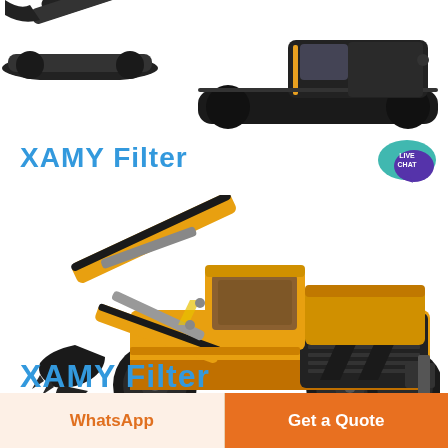[Figure (photo): Partial view of two construction excavators/track machines at the top of the page (cropped)]
XAMY Filter
[Figure (photo): Live Chat speech bubble icon in teal/purple with text LIVE CHAT]
[Figure (photo): Full side view of a yellow wheeled excavator (backhoe) with orange and black color scheme on white background]
XAMY Filter
WhatsApp
Get a Quote